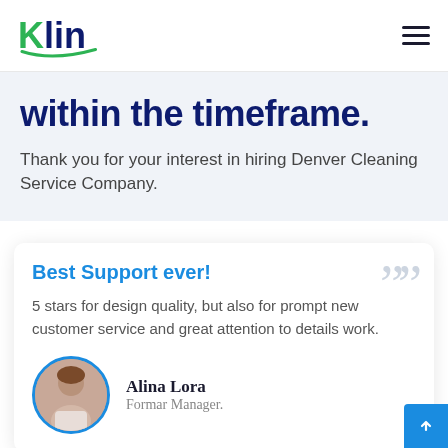Klin logo and navigation menu
within the timeframe.
Thank you for your interest in hiring Denver Cleaning Service Company.
Best Support ever!
5 stars for design quality, but also for prompt new customer service and great attention to details work.
Alina Lora
Formar Manager.